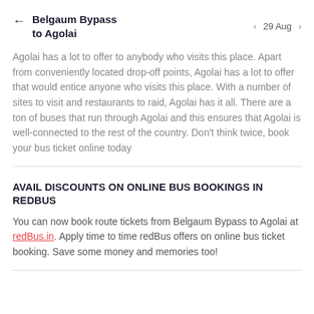Belgaum Bypass to Agolai  ← | 29 Aug ‹ ›
Agolai has a lot to offer to anybody who visits this place. Apart from conveniently located drop-off points, Agolai has a lot to offer that would entice anyone who visits this place. With a number of sites to visit and restaurants to raid, Agolai has it all. There are a ton of buses that run through Agolai and this ensures that Agolai is well-connected to the rest of the country. Don't think twice, book your bus ticket online today
AVAIL DISCOUNTS ON ONLINE BUS BOOKINGS IN REDBUS
You can now book route tickets from Belgaum Bypass to Agolai at redBus.in. Apply time to time redBus offers on online bus ticket booking. Save some money and memories too!